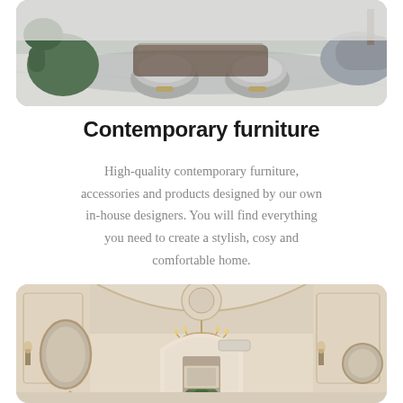[Figure (photo): Contemporary living room interior with green velvet chairs, round fluffy grey ottomans, and a marble floor. Modern luxury furniture showroom style.]
Contemporary furniture
High-quality contemporary furniture, accessories and products designed by our own in-house designers. You will find everything you need to create a stylish, cosy and comfortable home.
[Figure (photo): Elegant classic interior room with arched doorways, chandelier with candles, wall sconces, an oval mirror, decorative wall panels in cream and gold tones, and a Christmas tree.]